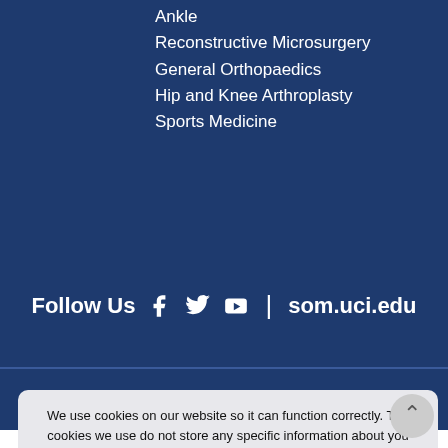Ankle
Reconstructive Microsurgery
General Orthopaedics
Hip and Knee Arthroplasty
Sports Medicine
Follow Us  f  [twitter]  [youtube]  |  som.uci.edu
Disclaimer | Privacy | Sitemap | Feedback | Tell a Friend | Contact Us | Accessibility Statement
© UCI School of Medicine, Department of Orthopaedic Surgery,
We use cookies on our website so it can function correctly. The cookies we use do not store any specific information about you personally and they won't harm your computer. See our privacy policy for more information.
Accept